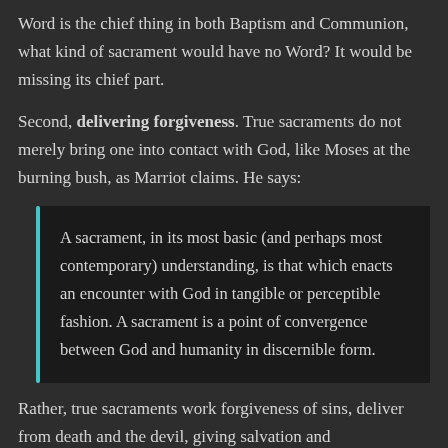Word is the chief thing in both Baptism and Communion, what kind of sacrament would have no Word? It would be missing its chief part.
Second, delivering forgiveness. True sacraments do not merely bring one into contact with God, like Moses at the burning bush, as Marriot claims. He says:
A sacrament, in its most basic (and perhaps most contemporary) understanding, is that which enacts an encounter with God in tangible or perceptible fashion. A sacrament is a point of convergence between God and humanity in discernible form.
Rather, true sacraments work forgiveness of sins, deliver from death and the devil, giving salvation and